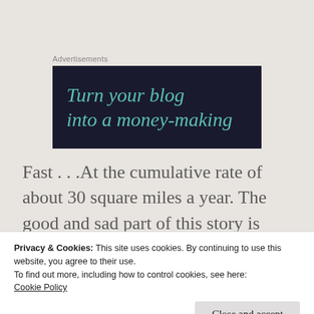Advertisements
[Figure (illustration): Dark navy advertisement banner with teal italic text reading 'Turn your blog into a money-making']
Fast . . .At the cumulative rate of about 30 square miles a year. The good and sad part of this story is that unlike climate change, a
Privacy & Cookies: This site uses cookies. By continuing to use this website, you agree to their use.
To find out more, including how to control cookies, see here:
Cookie Policy
Close and accept
than one-third of the annual cost of